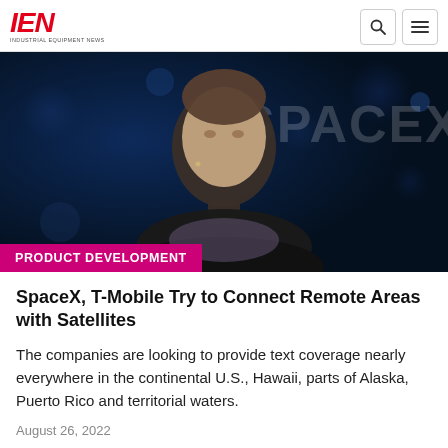IEN — INDUSTRIAL EQUIPMENT NEWS
[Figure (photo): Photo of a man speaking on stage with dark blue bokeh background and partial SpaceX text visible behind him. A 'PRODUCT DEVELOPMENT' pink/magenta label overlays the bottom of the image.]
SpaceX, T-Mobile Try to Connect Remote Areas with Satellites
The companies are looking to provide text coverage nearly everywhere in the continental U.S., Hawaii, parts of Alaska, Puerto Rico and territorial waters.
August 26, 2022